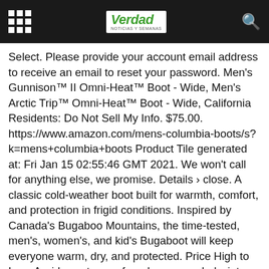Verdad
Select. Please provide your account email address to receive an email to reset your password. Men's Gunnison™ II Omni-Heat™ Boot - Wide, Men's Arctic Trip™ Omni-Heat™ Boot - Wide, California Residents: Do Not Sell My Info. $75.00. https://www.amazon.com/mens-columbia-boots/s?k=mens+columbia+boots Product Tile generated at: Fri Jan 15 02:55:46 GMT 2021. We won't call for anything else, we promise. Details › close. A classic cold-weather boot built for warmth, comfort, and protection in frigid conditions. Inspired by Canada's Bugaboo Mountains, the time-tested, men's, women's, and kid's Bugaboot will keep everyone warm, dry, and protected. Price High to Low. A wide, waterproof, and seam-sealed winter boot. Whether you're exploring new backcountry or having a Shop Now › contact_support. Up the mountain or into the city, this stylish boot is built to take on whatever the day brings. Keep the whole family warm with Columbia's assortment of waterproof winter boots, snowsuits, winter jackets, snow pants and cold weather accessories. Please try again or.